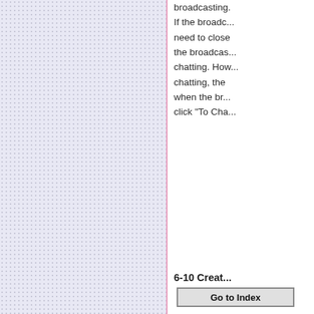[Figure (screenshot): Left panel with dotted/grid lavender background and pink vertical dividing line]
broadcasting. If the broadcaster need to close the broadcast while chatting. However, while chatting, the ... when the bro... click "To Cha..."
[Figure (screenshot): Small screenshot showing a green/teal button UI element]
6-10 Creat...
Go to Index